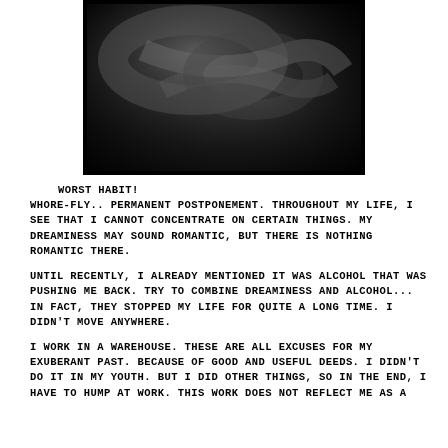[Figure (photo): Black and white abstract photograph showing curved organic shapes, possibly human body parts, in dark tones against a dark background.]
WORST HABIT!
WHORE-FLY.. PERMANENT POSTPONEMENT. THROUGHOUT MY LIFE, I SEE THAT I CANNOT CONCENTRATE ON CERTAIN THINGS. MY DREAMINESS MAY SOUND ROMANTIC, BUT THERE IS NOTHING ROMANTIC THERE.

UNTIL RECENTLY, I ALREADY MENTIONED IT WAS ALCOHOL THAT WAS PUSHING ME BACK. TRY TO COMBINE DREAMINESS AND ALCOHOL... IN FACT, THEY STOPPED MY LIFE FOR QUITE A LONG TIME. I DIDN'T MOVE ANYWHERE.

I WORK IN A WAREHOUSE. THESE ARE ALL EXCUSES FOR MY EXUBERANT PAST. BECAUSE OF GOOD AND USEFUL DEEDS. I DIDN'T DO IT IN MY YOUTH. BUT I DID OTHER THINGS, SO IN THE END, I HAVE TO HUMP AT WORK. THIS WORK DOES NOT REFLECT ME AS A